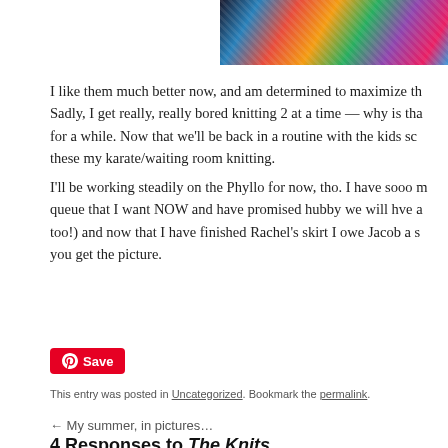[Figure (photo): Partial photo of colorful knitted fabric in blue, red, orange, green, purple stripes, visible at top right of page]
I like them much better now, and am determined to maximize th... Sadly, I get really, really bored knitting 2 at a time — why is tha... for a while. Now that we'll be back in a routine with the kids sc... these my karate/waiting room knitting.
I'll be working steadily on the Phyllo for now, tho. I have sooo m... queue that I want NOW and have promised hubby we will hve a... too!) and now that I have finished Rachel's skirt I owe Jacob a s... you get the picture.
[Figure (other): Pinterest Save button — red rounded button with Pinterest logo and 'Save' text]
This entry was posted in Uncategorized. Bookmark the permalink.
← My summer, in pictures…
4 Responses to The Knits…